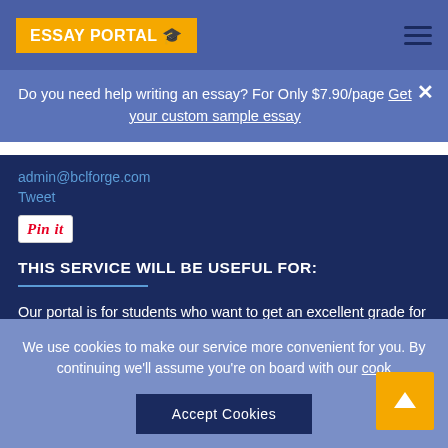ESSAY PORTAL 🎓
Do you need help writing an essay? For Only $7.90/page Get your custom sample essay
admin@bclforge.com
Tweet
[Figure (other): Pin it button]
THIS SERVICE WILL BE USEFUL FOR:
Our portal is for students who want to get an excellent grade for their written assignments. Here you will find essay outlines and
We use cookies to make our service more convenient for you. By continuing we'll assume you're on board with our cook
Accept Cookies